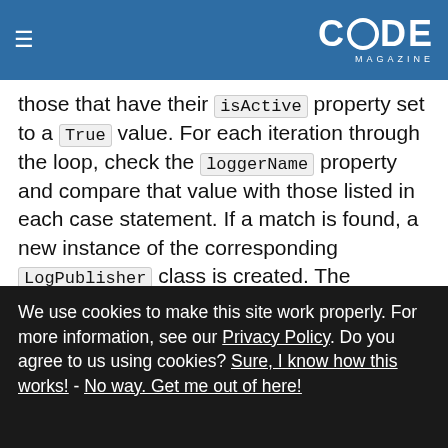CODE Magazine
those that have their isActive property set to a True value. For each iteration through the loop, check the loggerName property and compare that value with those listed in each case statement. If a match is found, a new instance of the corresponding LogPublisher class is created. The loggerLocation property is set to the location property of each LogPublisher class. The newly instantiated publisher object is then added to the publishers array property. As all of this happens
We use cookies to make this site work properly. For more information, see our Privacy Policy. Do you agree to us using cookies? Sure, I know how this works! - No way. Get me out of here!